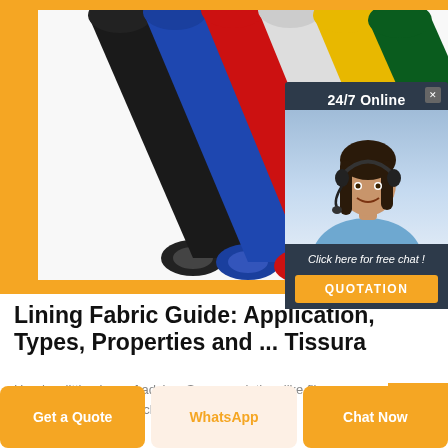[Figure (photo): Multiple rolls of colored vinyl/fabric in black, blue, red, white, yellow, and green colors arranged diagonally on a white background, shown partially within an orange-bordered card. Overlapping chat widget showing '24/7 Online', a female customer service agent with headset, 'Click here for free chat!' text, and an orange QUOTATION button.]
Lining Fabric Guide: Application, Types, Properties and ... Tissura
Here's a little piece of advice: Summer clothes like flimsy dresses, skirts, pants; choose cotton lining fabric...
Get a Quote
WhatsApp
Chat Now